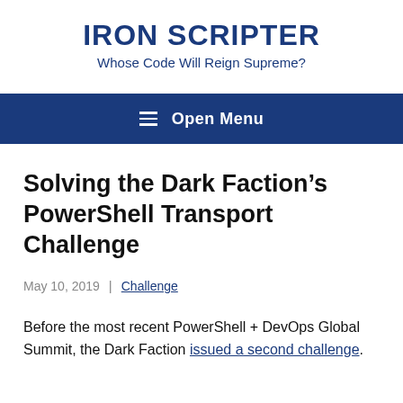IRON SCRIPTER
Whose Code Will Reign Supreme?
[Figure (screenshot): Navigation bar with hamburger menu icon and 'Open Menu' label on dark blue background]
Solving the Dark Faction’s PowerShell Transport Challenge
May 10, 2019  |  Challenge
Before the most recent PowerShell + DevOps Global Summit, the Dark Faction issued a second challenge.